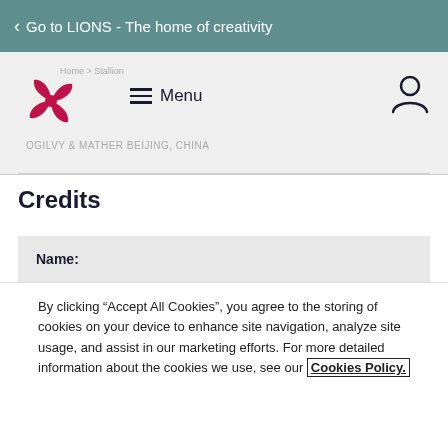Go to LIONS - The home of creativity
[Figure (logo): LIONS festival logo — red cross/flower symbol with four petal-like quadrants]
Menu
OGILVY & MATHER BEIJING, CHINA
Credits
| Name: |
| --- |
| Kin Chong |
By clicking “Accept All Cookies”, you agree to the storing of cookies on your device to enhance site navigation, analyze site usage, and assist in our marketing efforts. For more detailed information about the cookies we use, see our Cookies Policy.